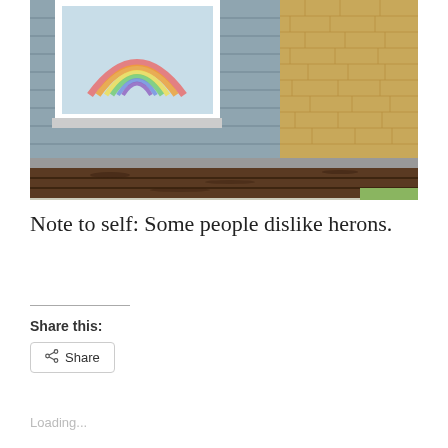[Figure (photo): Photograph of the exterior of a building showing a gray horizontal-siding wall with a white-framed window that has a rainbow drawing inside it, adjacent to a tan/yellow brick wall section, and in the foreground several weathered dark wooden boards laid on the ground near a sidewalk with a patch of grass.]
Note to self: Some people dislike herons.
Share this:
Loading...